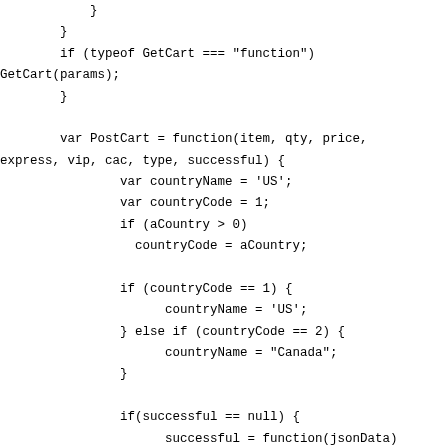}
        }
        if (typeof GetCart === "function") GetCart(params);
        }

        var PostCart = function(item, qty, price, express, vip, cac, type, successful) {
                var countryName = 'US';
                var countryCode = 1;
                if (aCountry > 0)
                  countryCode = aCountry;

                if (countryCode == 1) {
                      countryName = 'US';
                } else if (countryCode == 2) {
                      countryName = "Canada";
                }

                if(successful == null) {
                      successful = function(jsonData) {GrabCart();}
                }

                if (type == 'event') {
                      var itemToAdd = {
                            host: shoppingCartHost,
                            eventCode: item,
                            quantity: qty,
                            price: price,